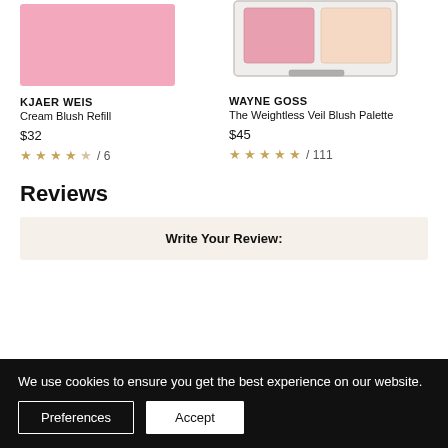[Figure (photo): Pink square cream blush product (Kjaer Weis Cream Blush Refill) — pink rectangle]
[Figure (photo): Wayne Goss The Weightless Veil Blush Palette compact with pink and beige pans in a silver case]
KJAER WEIS
Cream Blush Refill
$32
★★★★☆ / 6
WAYNE GOSS
The Weightless Veil Blush Palette
$45
★★★★★ / 111
Reviews
Write Your Review:
We use cookies to ensure you get the best experience on our website.